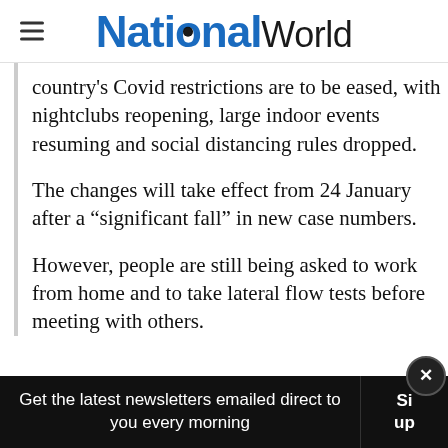NationalWorld
country's Covid restrictions are to be eased, with nightclubs reopening, large indoor events resuming and social distancing rules dropped.
The changes will take effect from 24 January after a “significant fall” in new case numbers.
However, people are still being asked to work from home and to take lateral flow tests before meeting with others.
Get the latest newsletters emailed direct to you every morning  Sign up